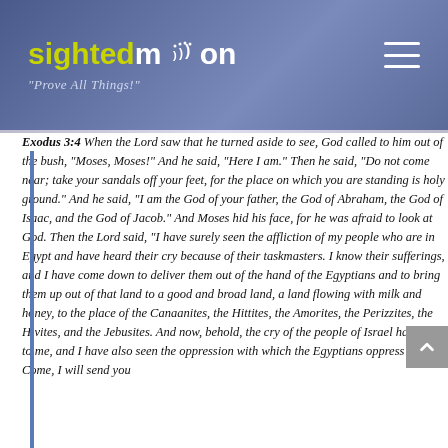sightedmoon "Prove All Things!"
Exodus 3:4 When the Lord saw that he turned aside to see, God called to him out of the bush, “Moses, Moses!” And he said, “Here I am.” Then he said, “Do not come near; take your sandals off your feet, for the place on which you are standing is holy ground.” And he said, “I am the God of your father, the God of Abraham, the God of Isaac, and the God of Jacob.” And Moses hid his face, for he was afraid to look at God. Then the Lord said, “I have surely seen the affliction of my people who are in Egypt and have heard their cry because of their taskmasters. I know their sufferings, and I have come down to deliver them out of the hand of the Egyptians and to bring them up out of that land to a good and broad land, a land flowing with milk and honey, to the place of the Canaanites, the Hittites, the Amorites, the Perizzites, the Hivites, and the Jebusites. And now, behold, the cry of the people of Israel has come to me, and I have also seen the oppression with which the Egyptians oppress them. Come, I will send you